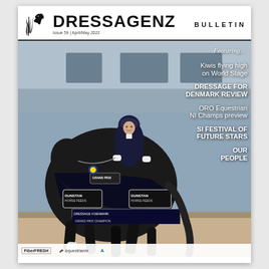DRESSAGENZ BULLETIN — Issue 59 | April/May 2022
[Figure (photo): Cover photo of a female dressage rider in navy jacket and helmet riding a dark bay/black horse decorated with Dunstan Horse Feeds branded rugs. The horse is performing a collected trot. A rosette and 'Grand Prix' banner visible. Text on rug reads 'DRESSAGE 4 DENMARK GRAND PRIX CHAMPION'. Arena setting with sponsor boards visible at bottom.]
Featuring...
Kiwis flying high on World Stage
DRESSAGE FOR DENMARK REVIEW
ORO Equestrian NI Champs preview
SI FESTIVAL OF FUTURE STARS
OUR PEOPLE